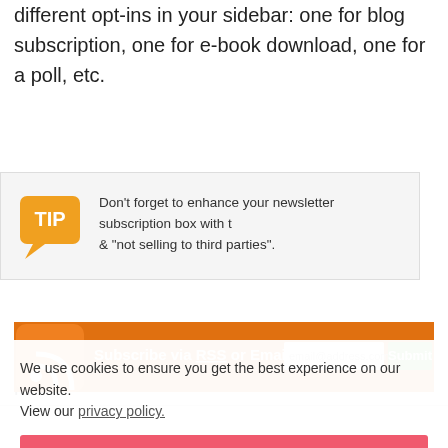different opt-ins in your sidebar: one for blog subscription, one for e-book download, one for a poll, etc.
Don't forget to enhance your newsletter subscription box with t & "not selling to third parties".
After the content – once a person reads your piece
We use cookies to ensure you get the best experience on our website. View our privacy policy.
Got it!
[Figure (infographic): RSS subscription banner with orange RSS icon and email subscription form with 'Subscribe via RSS or Email:' text, email input field, and green Submit button]